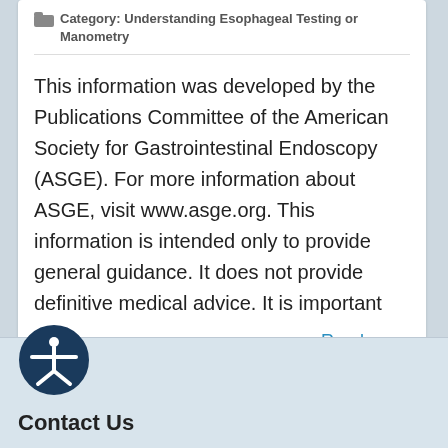Category: Understanding Esophageal Testing or Manometry
This information was developed by the Publications Committee of the American Society for Gastrointestinal Endoscopy (ASGE). For more information about ASGE, visit www.asge.org. This information is intended only to provide general guidance. It does not provide definitive medical advice. It is important
Read more
[Figure (illustration): Accessibility icon: circular dark blue badge with a white stick figure person with arms extended]
Contact Us